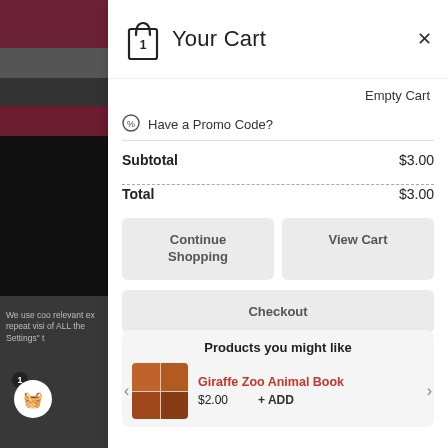Your Cart
Empty Cart
Have a Promo Code?
|  |  |
| --- | --- |
| Subtotal | $3.00 |
| Total | $3.00 |
Continue Shopping
View Cart
Checkout
Products you might like
[Figure (photo): Giraffe Zoo Animal Book product thumbnail]
Giraffe Zoo Animal Book
$2.00
+ ADD
We use coo relevant ex repeat visi of ALL the Settings" t